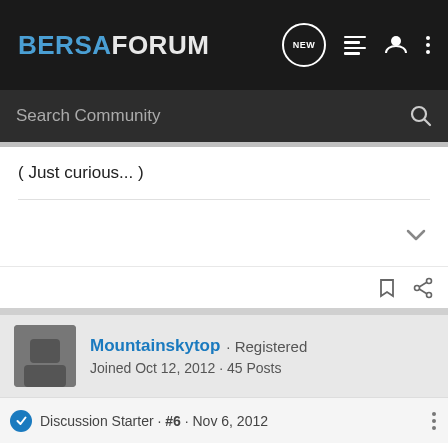BERSAFORUM
( Just curious... )
Mountainskytop · Registered
Joined Oct 12, 2012 · 45 Posts
Discussion Starter · #6 · Nov 6, 2012
SHOOTER13 said: ↑
Any reason why you shoot so many rounds before cleaning your...